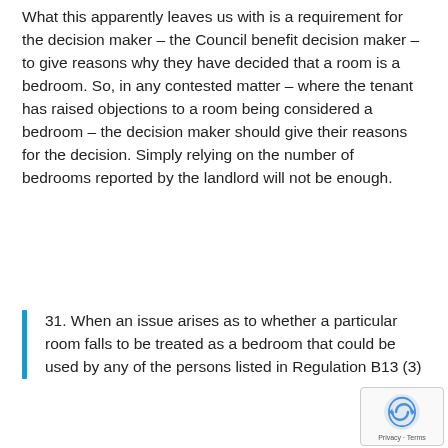What this apparently leaves us with is a requirement for the decision maker – the Council benefit decision maker – to give reasons why they have decided that a room is a bedroom. So, in any contested matter – where the tenant has raised objections to a room being considered a bedroom – the decision maker should give their reasons for the decision. Simply relying on the number of bedrooms reported by the landlord will not be enough.
31. When an issue arises as to whether a particular room falls to be treated as a bedroom that could be used by any of the persons listed in Regulation B13 (3)